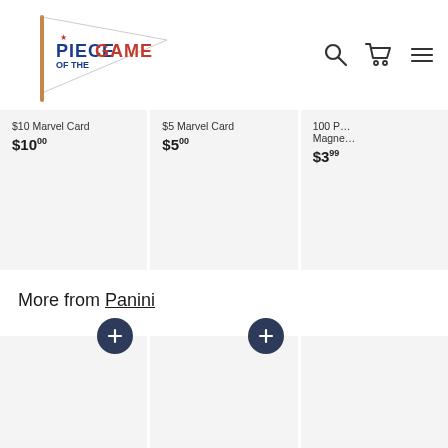[Figure (logo): Piece of the Game logo – pennant flag with text]
[Figure (other): Navigation icons: search, cart, menu]
$10 Marvel Card
$10.00
$5 Marvel Card
$5.00
100 P... Magne...
$3.99
More from Panini
[Figure (other): Empty product card with + button]
[Figure (other): Empty product card with + button]